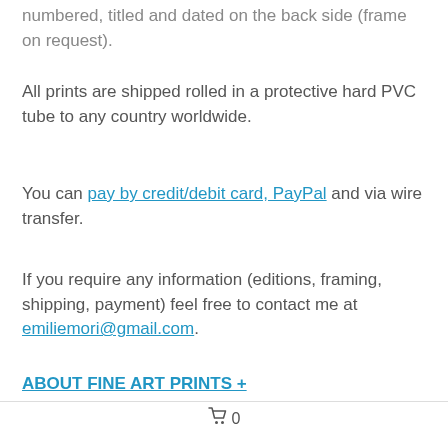numbered, titled and dated on the back side (frame on request).
All prints are shipped rolled in a protective hard PVC tube to any country worldwide.
You can pay by credit/debit card, PayPal and via wire transfer.
If you require any information (editions, framing, shipping, payment) feel free to contact me at emiliemori@gmail.com.
ABOUT FINE ART PRINTS +
🛒 0